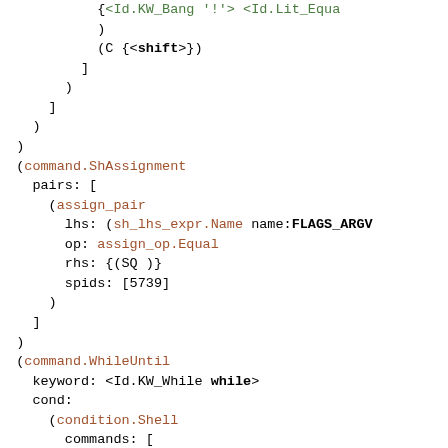Code/AST structure showing ShAssignment and WhileUntil command nodes